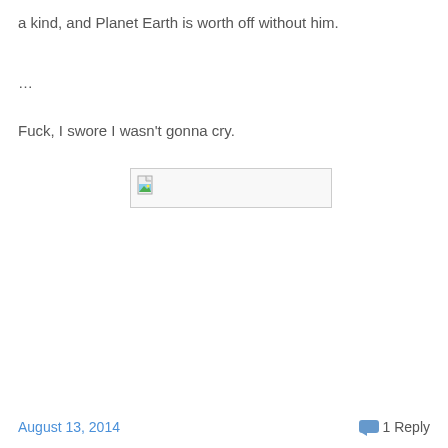a kind, and Planet Earth is worth off without him.
…
Fuck, I swore I wasn't gonna cry.
[Figure (other): Broken image placeholder with file icon and green landscape thumbnail icon]
August 13, 2014    1 Reply